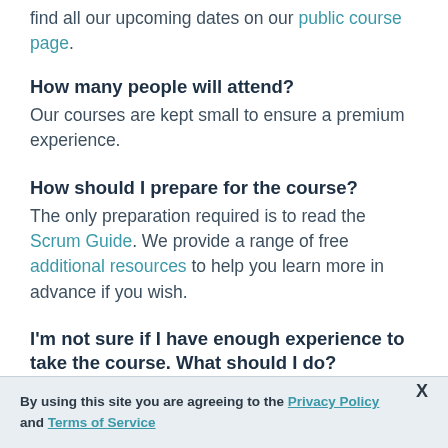find all our upcoming dates on our public course page.
How many people will attend?
Our courses are kept small to ensure a premium experience.
How should I prepare for the course?
The only preparation required is to read the Scrum Guide. We provide a range of free additional resources to help you learn more in advance if you wish.
I'm not sure if I have enough experience to take the course. What should I do?
By using this site you are agreeing to the Privacy Policy and Terms of Service